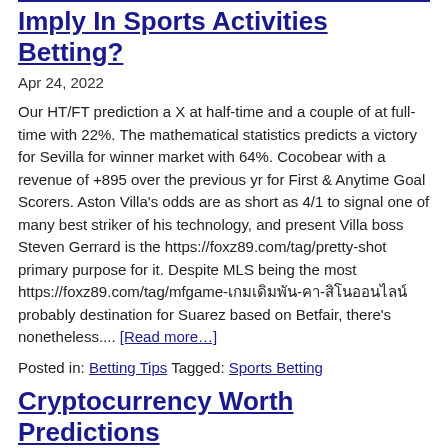Imply In Sports Activities Betting?
Apr 24, 2022
Our HT/FT prediction a X at half-time and a couple of at full-time with 22%. The mathematical statistics predicts a victory for Sevilla for winner market with 64%. Cocobear with a revenue of +895 over the previous yr for First & Anytime Goal Scorers. Aston Villa's odds are as short as 4/1 to signal one of many best striker of his technology, and present Villa boss Steven Gerrard is the https://foxz89.com/tag/pretty-shot primary purpose for it. Despite MLS being the most https://foxz89.com/tag/mfgame-เกมเดิมพัน-คา-สิโนออนไลน์ probably destination for Suarez based on Betfair, there's nonetheless.... [Read more…]
Posted in: Betting Tips Tagged: Sports Betting
Cryptocurrency Worth Predictions
Apr 10, 2022